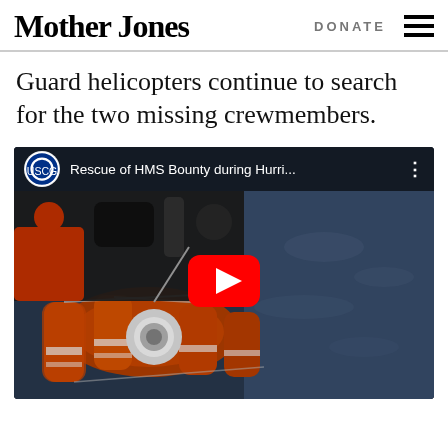Mother Jones | DONATE ≡
Guard helicopters continue to search for the two missing crewmembers.
[Figure (screenshot): Embedded YouTube video thumbnail showing orange life raft equipment being hoisted, with title 'Rescue of HMS Bounty during Hurri...' and Coast Guard logo overlay bar at top]